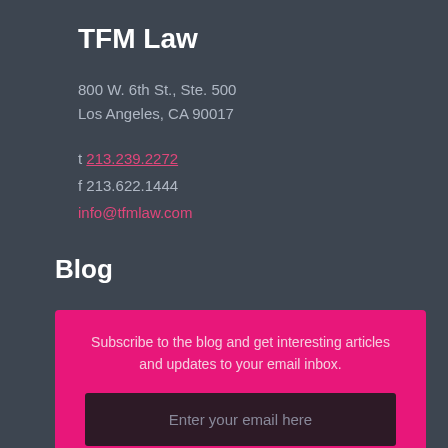TFM Law
800 W. 6th St., Ste. 500
Los Angeles, CA 90017
t 213.239.2272
f 213.622.1444
info@tfmlaw.com
Blog
Subscribe to the blog and get interesting articles and updates to your email inbox.
Enter your email here
I consent to my submitted data being collected via this form.